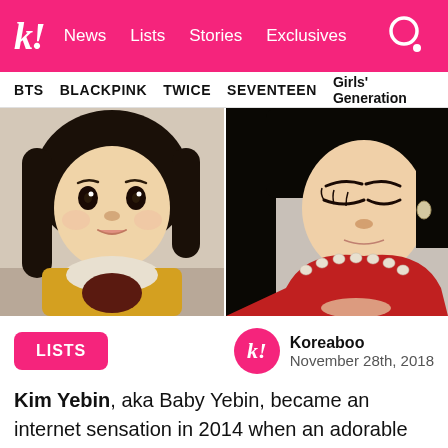k! News Lists Stories Exclusives
BTS BLACKPINK TWICE SEVENTEEN Girls' Generation
[Figure (photo): Two side-by-side photos of Kim Yebin (Baby Yebin) — left: a toddler with black hair in yellow outfit; right: an older girl in red dress with pearl necklace, looking down]
LISTS
Koreaboo
November 28th, 2018
Kim Yebin, aka Baby Yebin, became an internet sensation in 2014 when an adorable video of her Mom trying to teach her to avoid stranger